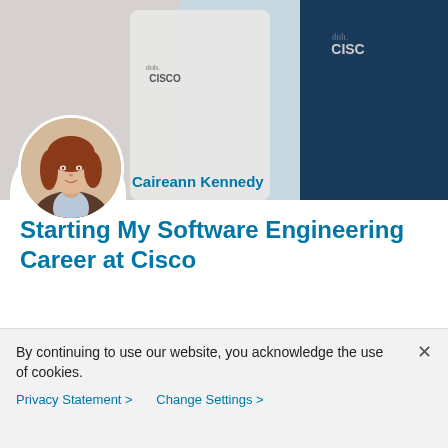[Figure (photo): Top banner showing a hand holding a Cisco branded cup/mug against a light background, with Cisco logo visible. Background image for a Cisco blog post page.]
[Figure (photo): Circular profile photo of Caireann Kennedy, a young woman with long auburn hair wearing a blazer.]
Caireann Kennedy
Starting My Software Engineering Career at Cisco
Software Engineer for our Webex team, Caireann K. shares her Top 5 reasons for choosing Cisco.
By continuing to use our website, you acknowledge the use of cookies.
Privacy Statement > Change Settings >